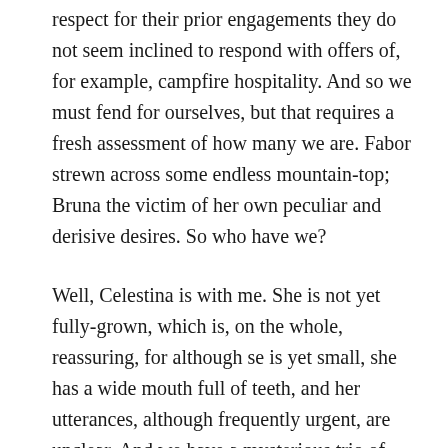respect for their prior engagements they do not seem inclined to respond with offers of, for example, campfire hospitality. And so we must fend for ourselves, but that requires a fresh assessment of how many we are. Fabor strewn across some endless mountain-top; Bruna the victim of her own peculiar and derisive desires. So who have we?
Well, Celestina is with me. She is not yet fully-grown, which is, on the whole, reassuring, for although se is yet small, she has a wide mouth full of teeth, and her utterances, although frequently urgent, are unclear. And we have a mysterious trio of killers who come, they tell me, from a film called 'McCabe and `Mrs Miller'. It seems they were all slain, one after another, by Warren Beatty, but they deny being their deaths, a source of...